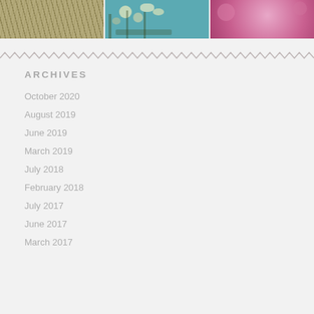[Figure (photo): Three photos side by side: a garden with tall grasses, a Van Gogh-style almond blossom painting, and a woman in pink dress surrounded by flowers]
ARCHIVES
October 2020
August 2019
June 2019
March 2019
July 2018
February 2018
July 2017
June 2017
March 2017